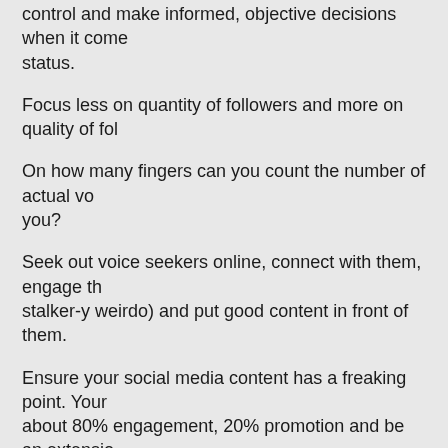control and make informed, objective decisions when it comes to status.
Focus less on quantity of followers and more on quality of fol…
On how many fingers can you count the number of actual vo… you?
Seek out voice seekers online, connect with them, engage th… stalker-y weirdo) and put good content in front of them.
Ensure your social media content has a freaking point. Your … about 80% engagement, 20% promotion and be an extensio… platform.
You do have a well-thought out brand, don't you?
AND STOP BRAGGING
S…